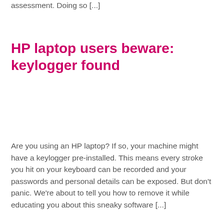assessment. Doing so [...]
HP laptop users beware: keylogger found
Are you using an HP laptop? If so, your machine might have a keylogger pre-installed. This means every stroke you hit on your keyboard can be recorded and your passwords and personal details can be exposed. But don't panic. We're about to tell you how to remove it while educating you about this sneaky software [...]